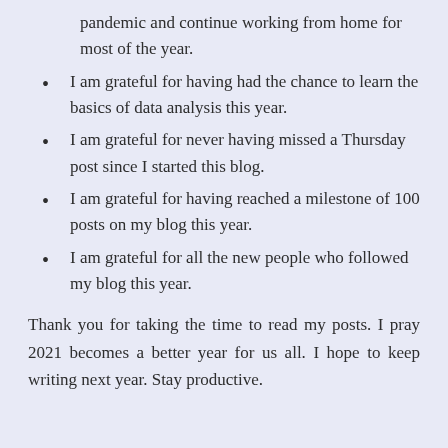pandemic and continue working from home for most of the year.
I am grateful for having had the chance to learn the basics of data analysis this year.
I am grateful for never having missed a Thursday post since I started this blog.
I am grateful for having reached a milestone of 100 posts on my blog this year.
I am grateful for all the new people who followed my blog this year.
Thank you for taking the time to read my posts. I pray 2021 becomes a better year for us all. I hope to keep writing next year. Stay productive.